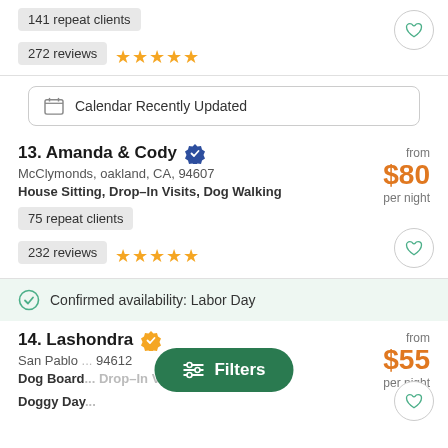141 repeat clients
272 reviews ★★★★★
Calendar Recently Updated
13. Amanda & Cody  McClymonds, oakland, CA, 94607  House Sitting, Drop–In Visits, Dog Walking  from $80 per night
75 repeat clients
232 reviews ★★★★★
Confirmed availability: Labor Day
14. Lashondra  San Pablo ... 94612  Dog Board... Drop–In Visits, Doggy Day...  from $55 per night